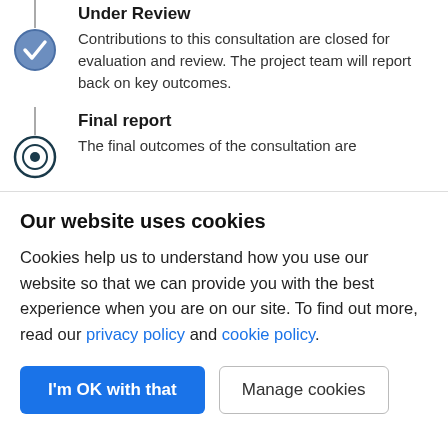Under Review
Contributions to this consultation are closed for evaluation and review. The project team will report back on key outcomes.
Final report
The final outcomes of the consultation are
Our website uses cookies
Cookies help us to understand how you use our website so that we can provide you with the best experience when you are on our site. To find out more, read our privacy policy and cookie policy.
I'm OK with that
Manage cookies